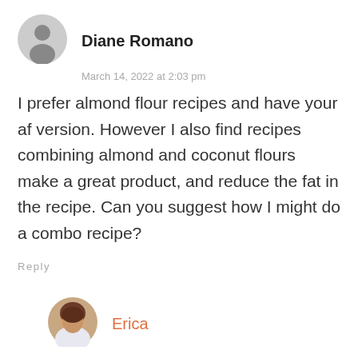[Figure (illustration): Generic user avatar icon — grey circle with a person silhouette]
Diane Romano
March 14, 2022 at 2:03 pm
I prefer almond flour recipes and have your af version. However I also find recipes combining almond and coconut flours make a great product, and reduce the fat in the recipe. Can you suggest how I might do a combo recipe?
Reply
[Figure (photo): Circular photo of Erica, a woman with dark hair]
Erica